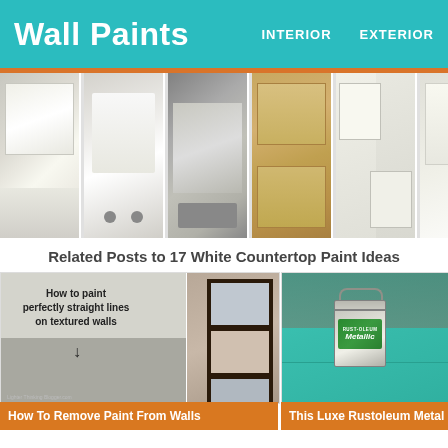Wall Paints  INTERIOR  EXTERIOR
[Figure (photo): Horizontal strip of 6 thumbnail photos showing white and wood kitchen countertops and cabinets]
Related Posts to 17 White Countertop Paint Ideas
[Figure (photo): How to paint perfectly straight lines on textured walls - grey two-tone wall with framed pictures on right]
How To Remove Paint From Walls
[Figure (photo): Rust-Oleum Metallic paint can sitting on teal/turquoise painted surface in a garage]
This Luxe Rustoleum Metal Paint Id